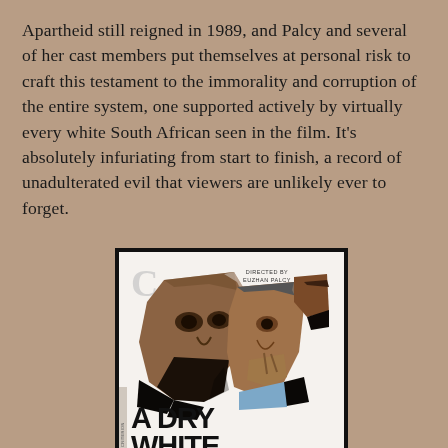Apartheid still reigned in 1989, and Palcy and several of her cast members put themselves at personal risk to craft this testament to the immorality and corruption of the entire system, one supported actively by virtually every white South African seen in the film. It's absolutely infuriating from start to finish, a record of unadulterated evil that viewers are unlikely ever to forget.
[Figure (illustration): Movie poster for 'A Dry White Season' directed by Euzhan Palcy (Criterion Collection). The poster shows collaged faces of Black and white male characters against a white background with bold black title text at the bottom reading 'A DRY WHITE' and below that 'SEASON'. The Criterion Collection logo (C) appears in the upper left. Text reading 'DIRECTED BY EUZHAN PALCY' appears in the upper right.]